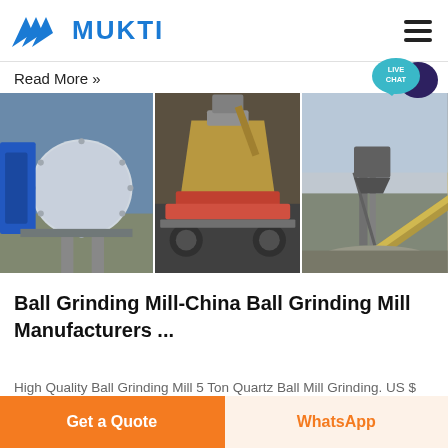MUKTI
Read More »
[Figure (photo): Three industrial images side by side: a large ball grinding mill in a factory, a cone crusher on a mobile chassis, and a conveyor belt system at a mining/quarry site.]
Ball Grinding Mill-China Ball Grinding Mill Manufacturers ...
High Quality Ball Grinding Mill 5 Ton Quartz Ball Mill Grinding. US $ 3,000-40,000 / Piece FOB. MOQ: 1
Get a Quote | WhatsApp